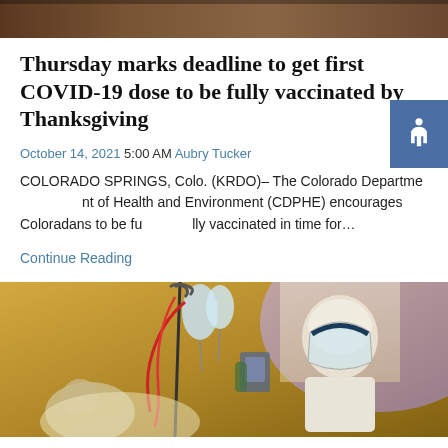[Figure (photo): Top portion of a crowd scene image, partially cropped at top of page]
Thursday marks deadline to get first COVID-19 dose to be fully vaccinated by Thanksgiving
October 14, 2021 5:00 AM Aubry Tucker
COLORADO SPRINGS, Colo. (KRDO)– The Colorado Department of Health and Environment (CDPHE) encourages Coloradans to be fully vaccinated in time for…
Continue Reading
[Figure (photo): Medical worker in full PPE including face shield in a hospital ICU setting with IV lines and medical equipment visible]